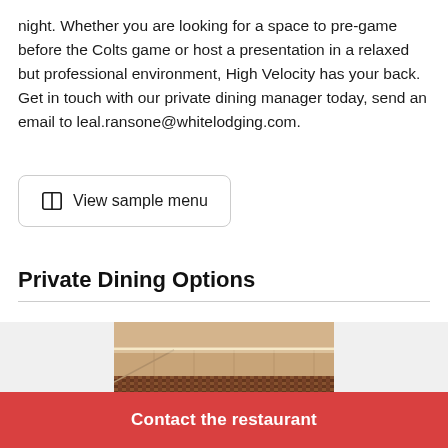night. Whether you are looking for a space to pre-game before the Colts game or host a presentation in a relaxed but professional environment, High Velocity has your back. Get in touch with our private dining manager today, send an email to leal.ransone@whitelodging.com.
View sample menu
Private Dining Options
[Figure (photo): Interior photo of a private dining room with warm ambient lighting along the ceiling edge and a mosaic tile accent wall.]
Contact the restaurant